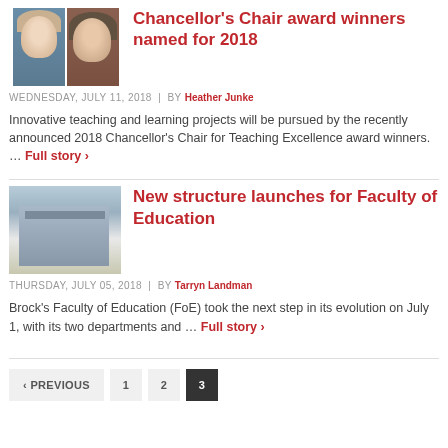[Figure (photo): Two women portrait photos side by side]
Chancellor's Chair award winners named for 2018
WEDNESDAY, JULY 11, 2018  |  by Heather Junke
Innovative teaching and learning projects will be pursued by the recently announced 2018 Chancellor's Chair for Teaching Excellence award winners. … Full story ›
[Figure (photo): Modern university building exterior]
New structure launches for Faculty of Education
THURSDAY, JULY 05, 2018  |  by Tarryn Landman
Brock's Faculty of Education (FoE) took the next step in its evolution on July 1, with its two departments and … Full story ›
‹ PREVIOUS  1  2  3